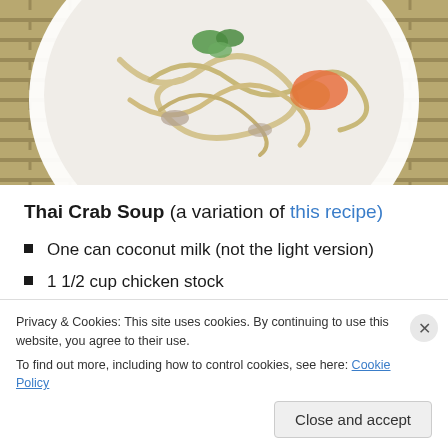[Figure (photo): Overhead photo of a white bowl of Thai crab soup with noodles, crab meat, and green herbs on a woven mat background]
Thai Crab Soup (a variation of this recipe)
One can coconut milk (not the light version)
1 1/2 cup chicken stock
2 tbsp freshly grated ginger
1/4 cup finely chopped onion
1/2 cup sliced mushrooms
Privacy & Cookies: This site uses cookies. By continuing to use this website, you agree to their use. To find out more, including how to control cookies, see here: Cookie Policy